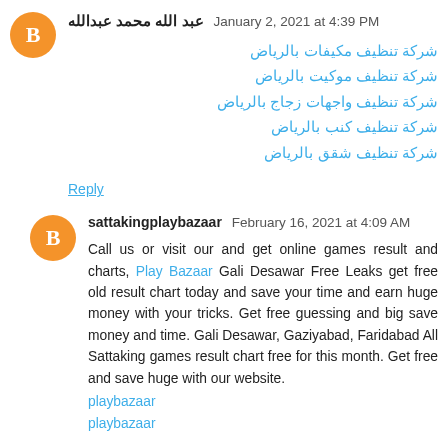عبد الله محمد عبدالله  January 2, 2021 at 4:39 PM
شركة تنظيف مكيفات بالرياض
شركة تنظيف موكيت بالرياض
شركة تنظيف واجهات زجاج بالرياض
شركة تنظيف كنب بالرياض
شركة تنظيف شقق بالرياض
Reply
sattakingplaybazaar  February 16, 2021 at 4:09 AM
Call us or visit our and get online games result and charts, Play Bazaar Gali Desawar Free Leaks get free old result chart today and save your time and earn huge money with your tricks. Get free guessing and big save money and time. Gali Desawar, Gaziyabad, Faridabad All Sattaking games result chart free for this month. Get free and save huge with our website.
playbazaar
playbazaar